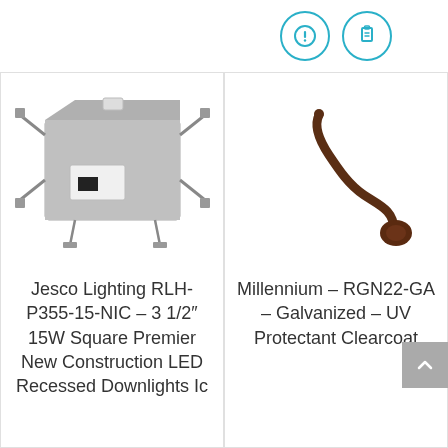[Figure (other): Two circular icon buttons with cyan/teal border: one with an exclamation mark (alert/info icon) and one with a clipboard/cart icon]
[Figure (photo): Photo of a Jesco Lighting recessed LED housing unit, square metal box with mounting brackets]
Jesco Lighting RLH-P355-15-NIC – 3 1/2″ 15W Square Premier New Construction LED Recessed Downlights Ic
[Figure (photo): Photo of a Millennium RGN22-GA dark bronze gooseneck arm bracket for outdoor lighting]
Millennium – RGN22-GA – Galvanized – UV Protectant Clearcoat